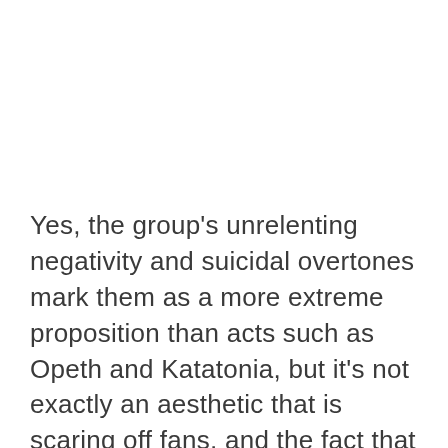Yes, the group's unrelenting negativity and suicidal overtones mark them as a more extreme proposition than acts such as Opeth and Katatonia, but it's not exactly an aesthetic that is scaring off fans, and the fact that this uncompromising attitude is balanced by richly emotional, expansive and memorable songs suggests they have the potential to be just as accessible as their more cuddly countrymen. Like those groups, Shining also offer a real journey in their music, each song being immaculately constructed